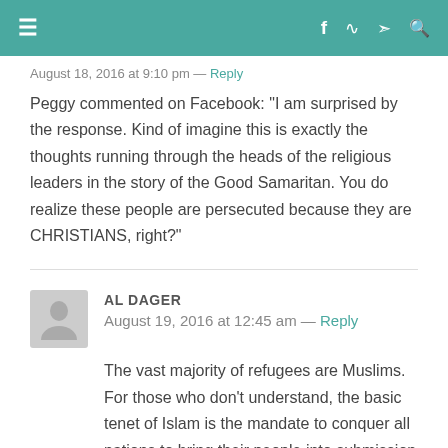≡  f  ⊃  🐦  🔍
August 18, 2016 at 9:10 pm — Reply
Peggy commented on Facebook: "I am surprised by the response. Kind of imagine this is exactly the thoughts running through the heads of the religious leaders in the story of the Good Samaritan. You do realize these people are persecuted because they are CHRISTIANS, right?"
AL DAGER
August 19, 2016 at 12:45 am — Reply
The vast majority of refugees are Muslims. For those who don't understand, the basic tenet of Islam is the mandate to conquer all nations to bring their people into submission (Islam) to Allah and sharia (Islamic law). This is done through jihad (English, "struggle";